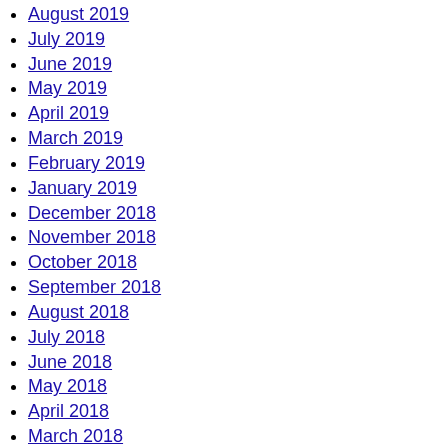August 2019
July 2019
June 2019
May 2019
April 2019
March 2019
February 2019
January 2019
December 2018
November 2018
October 2018
September 2018
August 2018
July 2018
June 2018
May 2018
April 2018
March 2018
February 2018
January 2018
December 2017
November 2017
October 2017
September 2017
August 2017